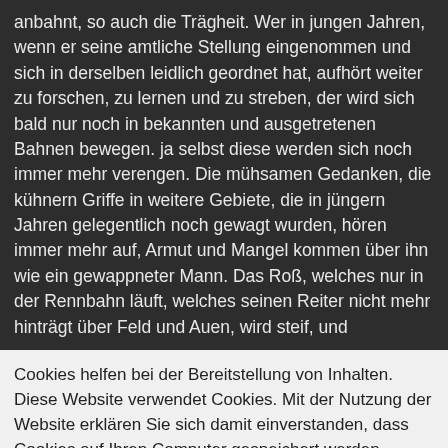anbahnt, so auch die Trägheit. Wer in jungen Jahren, wenn er seine amtliche Stellung eingenommen und sich in derselben leidlich geordnet hat, aufhört weiter zu forschen, zu lernen und zu streben, der wird sich bald nur noch in bekannten und ausgetretenen Bahnen bewegen. ja selbst diese werden sich noch immer mehr verengen. Die mühsamen Gedanken, die kühnern Griffe in weitere Gebiete, die in jüngern Jahren gelegentlich noch gewagt wurden, hören immer mehr auf, Armut und Mangel kommen über ihn wie ein gewappneter Mann. Das Roß, welches nur in der Rennbahn läuft, welches seinen Reiter nicht mehr hinträgt über Feld und Auen, wird steif, und
Cookies helfen bei der Bereitstellung von Inhalten. Diese Website verwendet Cookies. Mit der Nutzung der Website erklären Sie sich damit einverstanden, dass Cookies auf Ihren Computer gespeichert werden. Außerdem bestätigen Sie, das Sie unsere Datenschutzerklärung gelesen und verstanden haben. Wenn Sie nicht einverstanden sind, verlassen Sie die Website. OK Weitere Information